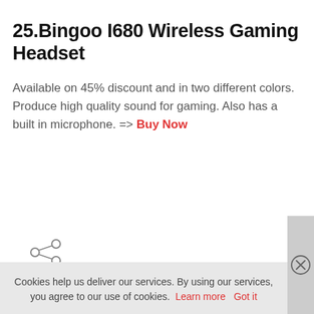25.Bingoo I680 Wireless Gaming Headset
Available on 45% discount and in two different colors. Produce high quality sound for gaming. Also has a built in microphone. => Buy Now
[Figure (illustration): Share icon (connected nodes symbol)]
Cookies help us deliver our services. By using our services, you agree to our use of cookies. Learn more  Got it